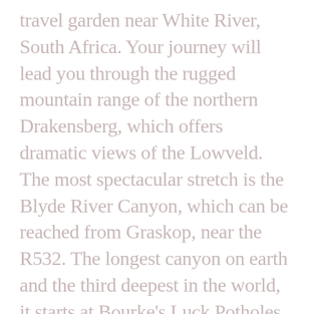travel garden near White River, South Africa. Your journey will lead you through the rugged mountain range of the northern Drakensberg, which offers dramatic views of the Lowveld. The most spectacular stretch is the Blyde River Canyon, which can be reached from Graskop, near the R532. The longest canyon on earth and the third deepest in the world, it starts at Bourke's Luck Potholes and ends at the Three Rondavels, with striking lookouts along the route. In can a half- to full-day route trip. Many thrilling waterfall and other scenic features Rest can be enjoyed along the way.